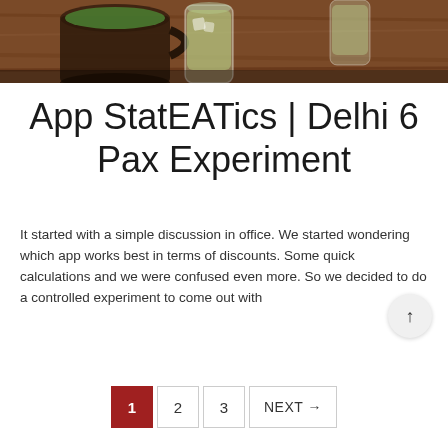[Figure (photo): Photo of drinks/glasses on a wooden table, likely a restaurant setting with beverages including what appears to be iced tea or cocktails in tall glasses and mugs]
App StatEATics | Delhi 6 Pax Experiment
It started with a simple discussion in office. We started wondering which app works best in terms of discounts. Some quick calculations and we were confused even more. So we decided to do a controlled experiment to come out with
1  2  3  NEXT →